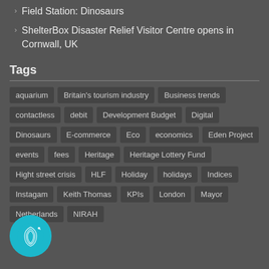Field Station: Dinosaurs
ShelterBox Disaster Relief Visitor Centre opens in Cornwall, UK
Tags
aquarium, Britain's tourism industry, Business trends, contactless, debit, Development Budget, Digital, Dinosaurs, E-commerce, Eco, economics, Eden Project, events, fees, Heritage, Heritage Lottery Fund, Hight street crisis, HLF, Holiday, holidays, Indices, Instagam, Keith Thomas, KPIs, London, Mayor, Netherlands, NIRAH